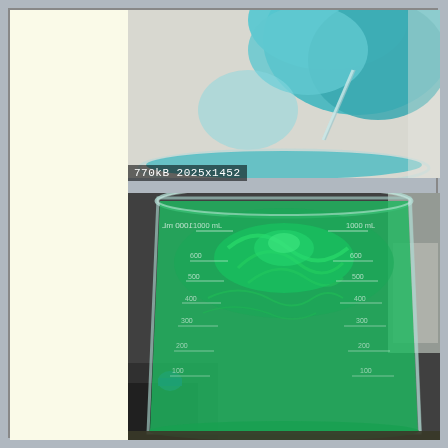[Figure (photo): Top half: close-up photo of a teal/cyan colored solution or powder being poured or suspended above a glass beaker, with a glass rod visible. Image metadata label reads '770kB 2025x1452'. Bottom half: photo of a large glass laboratory beaker filled with green solution showing measurement markings (1000mL, 600, 500, 400, 300, 200, 100), with the liquid swirling. Lab equipment visible in background.]